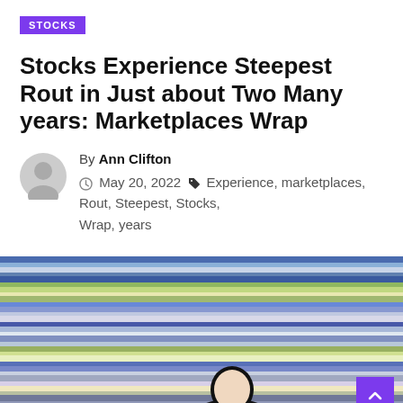STOCKS
Stocks Experience Steepest Rout in Just about Two Many years: Marketplaces Wrap
By Ann Clifton
May 20, 2022  Experience, marketplaces, Rout, Steepest, Stocks, Wrap, years
[Figure (photo): A person walking in front of a blurred, colorful stock market display board with horizontal streaks of color]